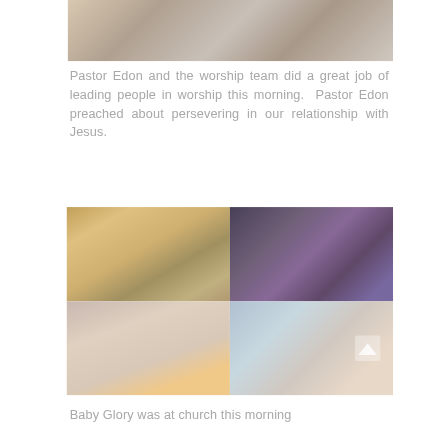[Figure (photo): Top photo showing a church/worship setting with equipment]
Pastor Edon and the worship team did a great job of leading people in worship this morning.  Pastor Edon preached about persevering in our relationship with Jesus.
[Figure (photo): Four-photo grid: top-left shows worship team on stage, top-right shows drum kit, bottom-left shows keyboard player and guitarist, bottom-right shows two children sitting on steps]
Baby Glory was at church this morning